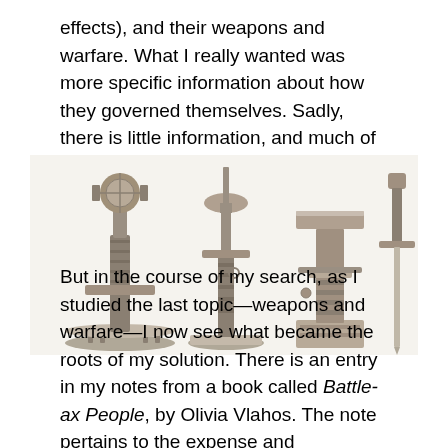effects), and their weapons and warfare. What I really wanted was more specific information about how they governed themselves. Sadly, there is little information, and much of it is conflicting.
[Figure (photo): Black and white photograph of several ancient weapons or artifacts displayed on stands, including what appear to be swords and ornate handles or hilts mounted on decorative bases.]
But in the course of my search, as I studied the last topic—weapons and warfare—I now see what became the roots of my solution. There is an entry in my notes from a book called Battle-ax People, by Olivia Vlahos. The note pertains to the expense and significance of swords, and